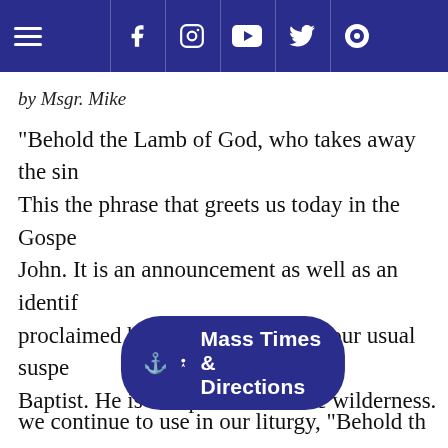Navigation bar with hamburger menu and social icons (Facebook, Instagram, YouTube, Twitter, Rumble)
by Msgr. Mike
"Behold the Lamb of God, who takes away the sin... This the phrase that greets us today in the Gospel... John. It is an announcement as well as an identif... proclaimed by a man who is not your usual suspe... Baptist. He is that preacher of the wilderness. Joh... garment made of camel's hair and girded with a l... and survives in the desert, a desolate place, on a ... wild honey. He devotes himself to warning his pe... of the wrath that is yet to come. And then, one da... coming toward ... t... we continue to use in our liturgy, "Behold th...